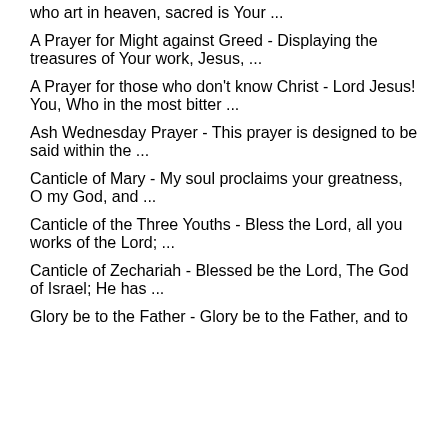who art in heaven, sacred is Your ...
A Prayer for Might against Greed - Displaying the treasures of Your work, Jesus, ...
A Prayer for those who don't know Christ - Lord Jesus! You, Who in the most bitter ...
Ash Wednesday Prayer - This prayer is designed to be said within the ...
Canticle of Mary - My soul proclaims your greatness, O my God, and ...
Canticle of the Three Youths - Bless the Lord, all you works of the Lord; ...
Canticle of Zechariah - Blessed be the Lord, The God of Israel; He has ...
Glory be to the Father - Glory be to the Father, and to